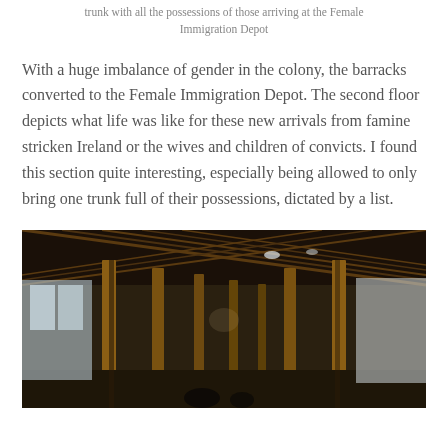trunk with all the possessions of those arriving at the Female Immigration Depot
With a huge imbalance of gender in the colony, the barracks converted to the Female Immigration Depot. The second floor depicts what life was like for these new arrivals from famine stricken Ireland or the wives and children of convicts. I found this section quite interesting, especially being allowed to only bring one trunk full of their possessions, dictated by a list.
[Figure (photo): Interior view of a long timber-framed hall with exposed wooden beams and columns, looking down a corridor with windows on both sides — the Female Immigration Depot barracks.]